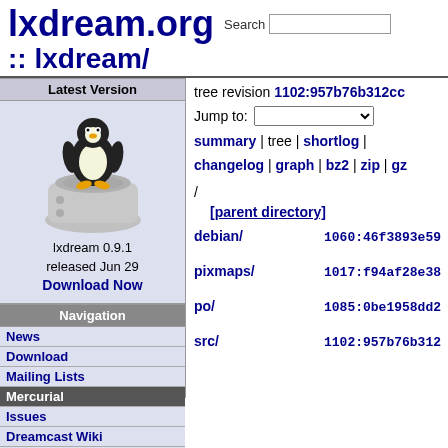lxdream.org :: lxdream/
tree revision 1102:957b76b312cc
Jump to:
summary | tree | shortlog | changelog | graph | bz2 | zip | gz
/
[parent directory]
Latest Version
[Figure (illustration): Linux Tux penguin mascot on a Dreamcast console]
lxdream 0.9.1 released Jun 29
Download Now
Navigation
News
Download
Mailing Lists
Mercurial
Issues
Dreamcast Wiki
FAQ
debian/	1060:46f3893e59
pixmaps/	1017:f94af28e38
po/	1085:0be1958dd2
src/	1102:957b76b312